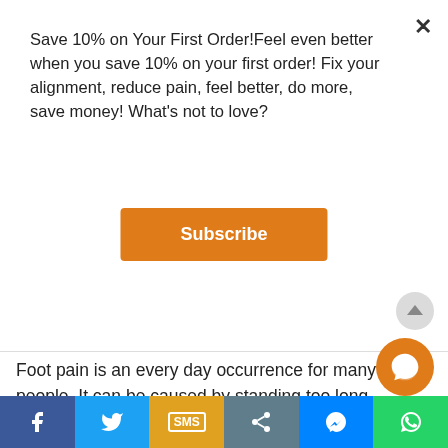Save 10% on Your First Order!Feel even better when you save 10% on your first order! Fix your alignment, reduce pain, feel better, do more, save money! What's not to love?
[Figure (screenshot): Orange Subscribe button on white modal background]
[Figure (photo): Image strip showing foot on wooden floor on the left and Orange Insoles logo on dark background on the right]
Foot pain is an every day occurrence for many people. It can be caused by standing too long, wearing the wrong shoes, walking or running wrong, too much activity or even not enough activity.  When your feet are sore, it's hard to pinpoint the cause. When that generic foot pain turns into heel pain, it's a litt to identify the cause and start to treat it.
[Figure (infographic): Social sharing bar at bottom with Facebook, Twitter, SMS, Share, Messenger, and WhatsApp buttons]